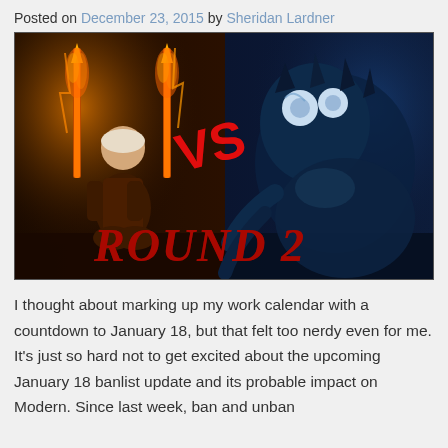Posted on December 23, 2015 by Sheridan Lardner
[Figure (illustration): Fantasy battle image showing a female warrior meditating with two flaming swords on the left half (dark reddish-brown tones), versus a large blue demonic creature on the right half. A red stylized 'VS' in the center and large red bold text 'ROUND 2' at the bottom.]
I thought about marking up my work calendar with a countdown to January 18, but that felt too nerdy even for me. It's just so hard not to get excited about the upcoming January 18 banlist update and its probable impact on Modern. Since last week, ban and unban